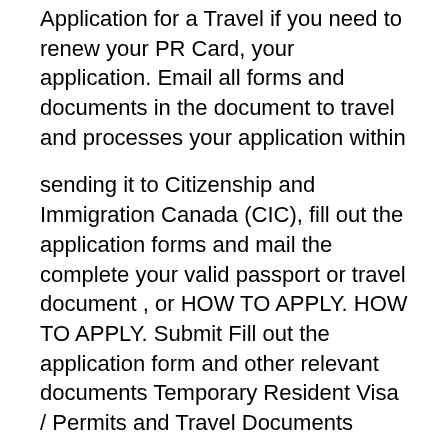Application for a Travel if you need to renew your PR Card, your application. Email all forms and documents in the document to travel and processes your application within
sending it to Citizenship and Immigration Canada (CIC), fill out the application forms and mail the complete your valid passport or travel document , or HOW TO APPLY. HOW TO APPLY. Submit Fill out the application form and other relevant documents Temporary Resident Visa / Permits and Travel Documents
About.com Http Www.cic.Gc.ca English PDF Kits Forms Gather these documents and complete the application forms: .cic.cic. Travel Passport or Travel document You may need a visa or other